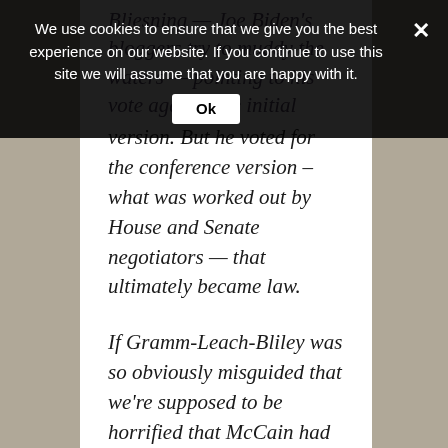Bliesning — Joe Biden's bloggers try to muddy the waters — pointing to his vote against the initial version. But he voted for the conference version – what was worked out by House and Senate negotiators — that ultimately became law. If Gramm-Leach-Bliley was so obviously misguided that we're supposed to be horrified that McCain had Phil Gramm as an advisor, shouldn't we be even more…
Cookie banner: We use cookies to ensure that we give you the best experience on our website. If you continue to use this site we will assume that you are happy with it. Ok